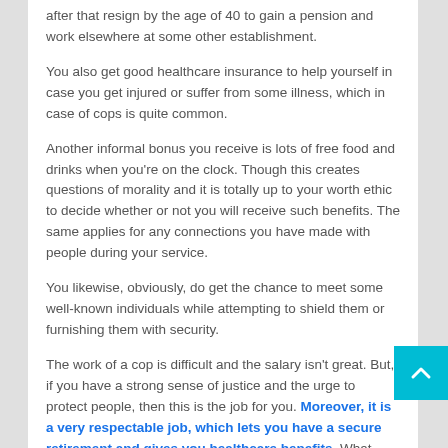after that resign by the age of 40 to gain a pension and work elsewhere at some other establishment.
You also get good healthcare insurance to help yourself in case you get injured or suffer from some illness, which in case of cops is quite common.
Another informal bonus you receive is lots of free food and drinks when you're on the clock. Though this creates questions of morality and it is totally up to your worth ethic to decide whether or not you will receive such benefits. The same applies for any connections you have made with people during your service.
You likewise, obviously, do get the chance to meet some well-known individuals while attempting to shield them or furnishing them with security.
The work of a cop is difficult and the salary isn't great. But, if you have a strong sense of justice and the urge to protect people, then this is the job for you. Moreover, it is a very respectable job, which lets you have a secure retirement and gives you healthcare benefits. What more could one ask for